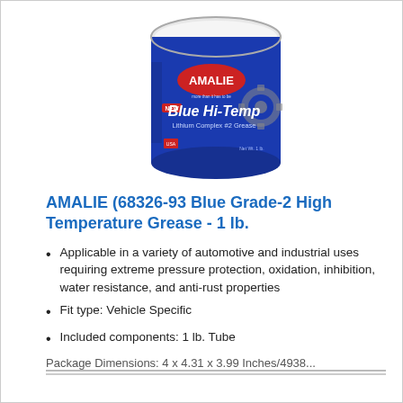[Figure (photo): A blue cylindrical tin can of Amalie Blue Hi-Temp Lithium Complex #2 Grease with a white lid. The label features the Amalie logo in a red oval, and the product name 'Blue Hi-Temp Lithium Complex #2 Grease' in white text with gear imagery.]
AMALIE (68326-93 Blue Grade-2 High Temperature Grease - 1 lb.
Applicable in a variety of automotive and industrial uses requiring extreme pressure protection, oxidation, inhibition, water resistance, and anti-rust properties
Fit type: Vehicle Specific
Included components: 1 lb. Tube